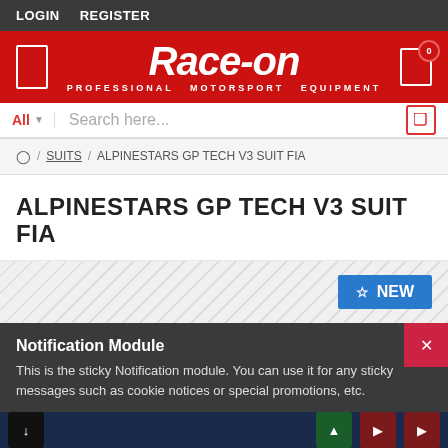LOGIN  REGISTER
[Figure (logo): Race-on Professional Motorsport Equipment logo on red background]
All  Search here...
🏠 / SUITS / ALPINESTARS GP TECH V3 SUIT FIA
ALPINESTARS GP TECH V3 SUIT FIA
[Figure (other): Product image area with diagonal stripe background and NEW badge]
Notification Module
This is the sticky Notification module. You can use it for any sticky messages such as cookie notices or special promotions, etc.